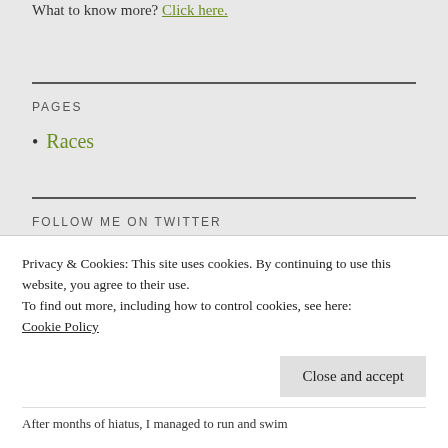What to know more? Click here.
PAGES
Races
FOLLOW ME ON TWITTER
Privacy & Cookies: This site uses cookies. By continuing to use this website, you agree to their use.
To find out more, including how to control cookies, see here: Cookie Policy
After months of hiatus, I managed to run and swim